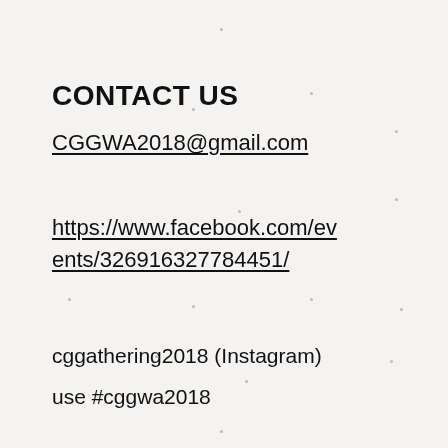CONTACT US
CGGWA2018@gmail.com
https://www.facebook.com/events/326916327784451/
cggathering2018 (Instagram)
use #cggwa2018
Registration Available now